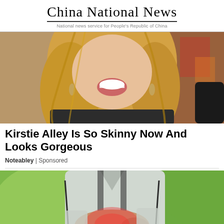China National News
National news service for People's Republic of China
[Figure (photo): A smiling blonde woman with wavy hair and dangling earrings, wearing a dark top, laughing with mouth open.]
Kirstie Alley Is So Skinny Now And Looks Gorgeous
Noteabley | Sponsored
[Figure (photo): A person in a light grey chef's jacket holding their stomach area, with a red glow indicating pain or discomfort, against a blurred green outdoor background.]